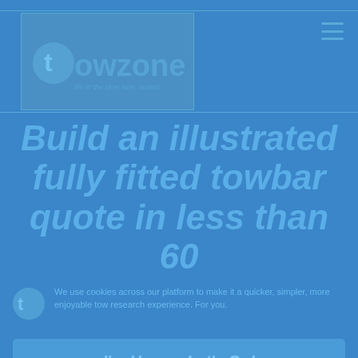[Figure (logo): TowZone logo — stylized 'towzone' text with tagline 'life in the slow lane, sorted.']
Build an illustrated fully fitted towbar quote in less than 60
We use cookies across our platform to make it a quicker, simpler, more enjoyable tow research experience. For you.
I'm Happy, Let's Go!
No thanks, I'll take the limited experience.